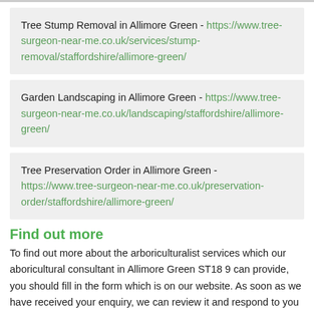Tree Stump Removal in Allimore Green - https://www.tree-surgeon-near-me.co.uk/services/stump-removal/staffordshire/allimore-green/
Garden Landscaping in Allimore Green - https://www.tree-surgeon-near-me.co.uk/landscaping/staffordshire/allimore-green/
Tree Preservation Order in Allimore Green - https://www.tree-surgeon-near-me.co.uk/preservation-order/staffordshire/allimore-green/
Find out more
To find out more about the arboriculturalist services which our aboricultural consultant in Allimore Green ST18 9 can provide, you should fill in the form which is on our website. As soon as we have received your enquiry, we can review it and respond to you with an appropriate and efficient option for your project. If you enter as much information as you can, then the claims become a priority which